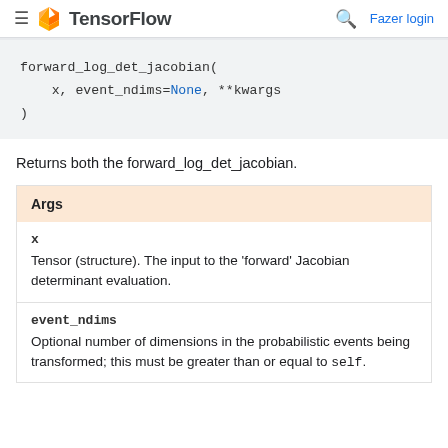TensorFlow — Fazer login
forward_log_det_jacobian(
    x, event_ndims=None, **kwargs
)
Returns both the forward_log_det_jacobian.
| Args |
| --- |
| x | Tensor (structure). The input to the 'forward' Jacobian determinant evaluation. |
| event_ndims | Optional number of dimensions in the probabilistic events being transformed; this must be greater than or equal to self. |